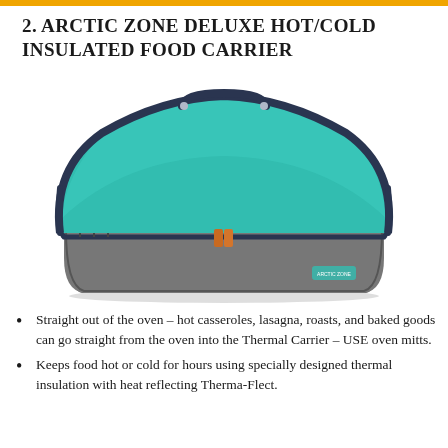2. ARCTIC ZONE DELUXE HOT/COLD INSULATED FOOD CARRIER
[Figure (photo): Photo of the Arctic Zone Deluxe Hot/Cold Insulated Food Carrier — a teal/turquoise insulated food carrier bag with dark navy trim, orange zipper pull, and a carry handle on top, shown closed.]
Straight out of the oven – hot casseroles, lasagna, roasts, and baked goods can go straight from the oven into the Thermal Carrier – USE oven mitts.
Keeps food hot or cold for hours using specially designed thermal insulation with heat reflecting Therma-Flect.